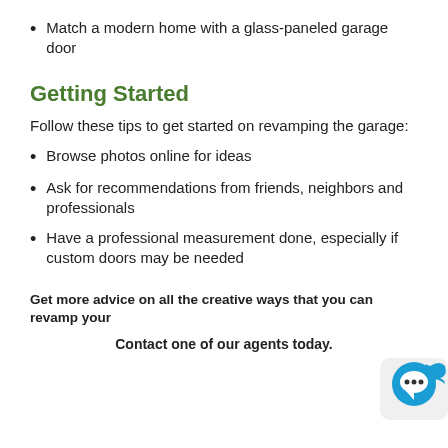Match a modern home with a glass-paneled garage door
Getting Started
Follow these tips to get started on revamping the garage:
Browse photos online for ideas
Ask for recommendations from friends, neighbors and professionals
Have a professional measurement done, especially if custom doors may be needed
Get more advice on all the creative ways that you can revamp your
Contact one of our agents today.